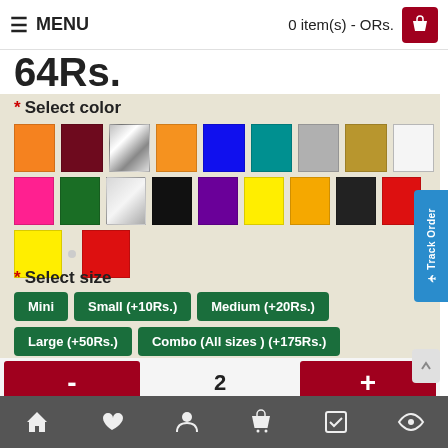MENU   0 item(s) - ORs.
64Rs.
* Select color
[Figure (other): Color swatches grid: row1: orange, dark-red/maroon, silver-gradient, orange2, blue, teal, silver-gray, gold, white; row2: hot-pink, dark-green, light-silver, black, purple, yellow, amber/orange, black2, red; row3: yellow, red]
* Select size
Mini
Small (+10Rs.)
Medium (+20Rs.)
Large (+50Rs.)
Combo (All sizes ) (+175Rs.)
- 2 +
Home | Wishlist | Account | Cart | Orders | History